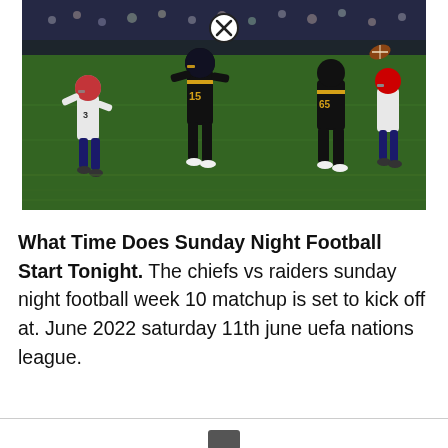[Figure (photo): NFL football game action shot at night. Players in black uniforms (number 15 and 65 visible) and white uniforms running on a grass field. Player in black appears to be carrying or reaching for a football. Stadium crowd visible in background.]
What Time Does Sunday Night Football Start Tonight. The chiefs vs raiders sunday night football week 10 matchup is set to kick off at. June 2022 saturday 11th june uefa nations league.
Leave a Comment